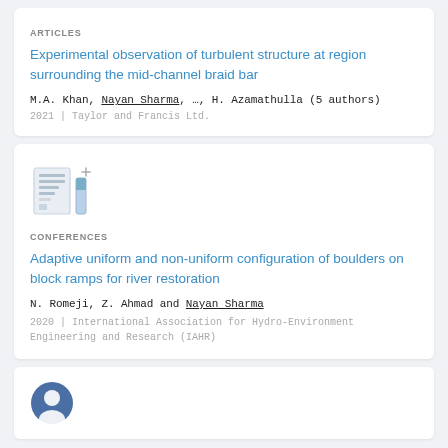ARTICLES
Experimental observation of turbulent structure at region surrounding the mid-channel braid bar
M.A. Khan, Nayan Sharma, …, H. Azamathulla (5 authors)
2021 | Taylor and Francis Ltd.
[Figure (illustration): Document/conference icon with a plus sign]
CONFERENCES
Adaptive uniform and non-uniform configuration of boulders on block ramps for river restoration
N. Romeji, Z. Ahmad and Nayan Sharma
2020 | International Association for Hydro-Environment Engineering and Research (IAHR)
[Figure (illustration): Circular avatar/profile icon]